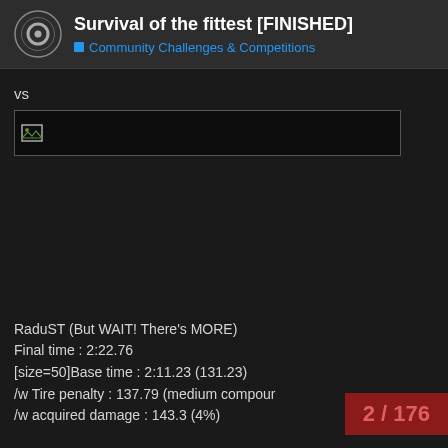Survival of the fittest [FINISHED] — Community Challenges & Competitions
vs
[Figure (screenshot): A dark image placeholder/thumbnail with a small broken image icon in the top-left corner, shown against a black background with a thin border]
RaduST (But WAIT! There's MORE)
Final time : 2:22.76
[size=50]Base time : 2:11.23 (131.23)
/w Tire penalty : 137.79 (medium compou
/w acquired damage : 143.3 (4%)
2 / 176